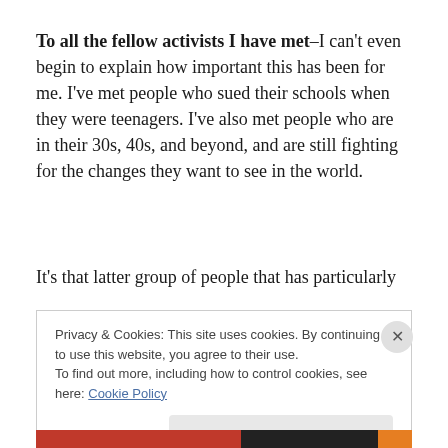To all the fellow activists I have met–I can't even begin to explain how important this has been for me. I've met people who sued their schools when they were teenagers. I've also met people who are in their 30s, 40s, and beyond, and are still fighting for the changes they want to see in the world.
It's that latter group of people that has particularly
Privacy & Cookies: This site uses cookies. By continuing to use this website, you agree to their use.
To find out more, including how to control cookies, see here: Cookie Policy